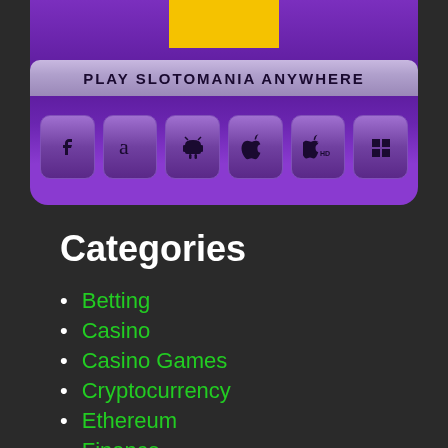[Figure (screenshot): Slotomania promotional banner with 'PLAY SLOTOMANIA ANYWHERE' text and platform icons for Facebook, Amazon, Android, Apple, Apple HD, and Windows]
Categories
Betting
Casino
Casino Games
Cryptocurrency
Ethereum
Finance
Gambling
Games
Lottery